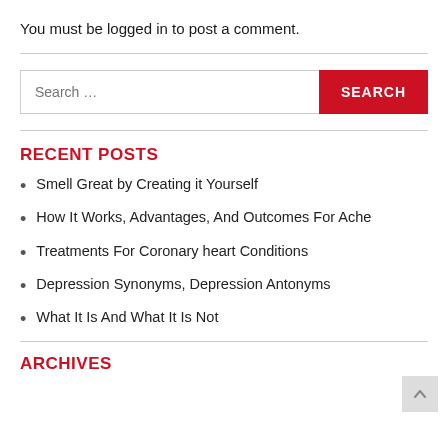You must be logged in to post a comment.
RECENT POSTS
Smell Great by Creating it Yourself
How It Works, Advantages, And Outcomes For Ache
Treatments For Coronary heart Conditions
Depression Synonyms, Depression Antonyms
What It Is And What It Is Not
ARCHIVES